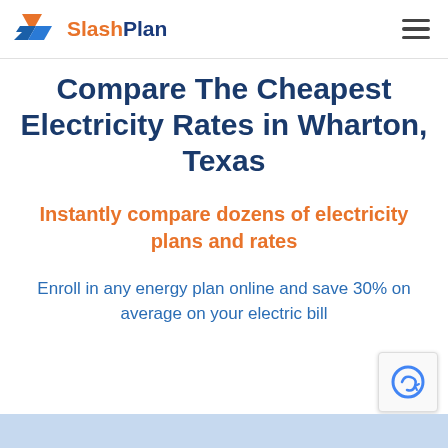SlashPlan
Compare The Cheapest Electricity Rates in Wharton, Texas
Instantly compare dozens of electricity plans and rates
Enroll in any energy plan online and save 30% on average on your electric bill